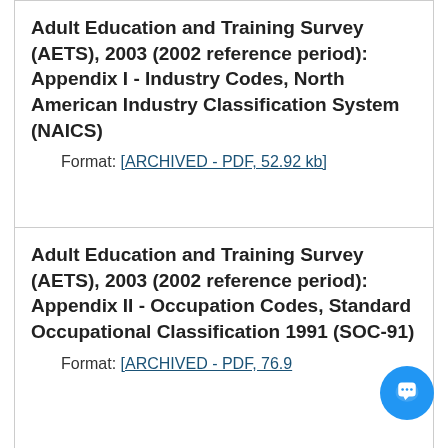Adult Education and Training Survey (AETS), 2003 (2002 reference period): Appendix I - Industry Codes, North American Industry Classification System (NAICS)
Format: [ARCHIVED - PDF, 52.92 kb]
Adult Education and Training Survey (AETS), 2003 (2002 reference period): Appendix II - Occupation Codes, Standard Occupational Classification 1991 (SOC-91)
Format: [ARCHIVED - PDF, 76.9...
Classification of Instructional...